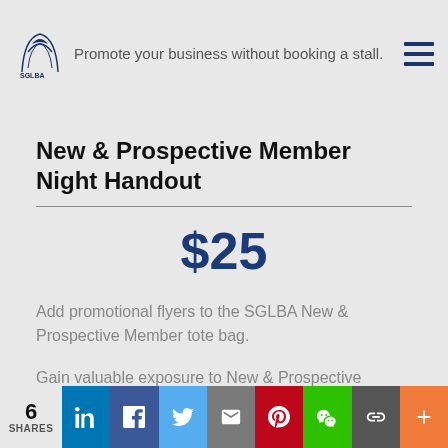Promote your business without booking a stall.
New & Prospective Member Night Handout
$25
Add promotional flyers to the SGLBA New & Prospective Member tote bag.
Gain valuable exposure to New & Prospective SGLBA members. Held bi-annually.
6 SHARES | Social share buttons: LinkedIn, Facebook, Twitter, Email, Pinterest, WeChat, More, +